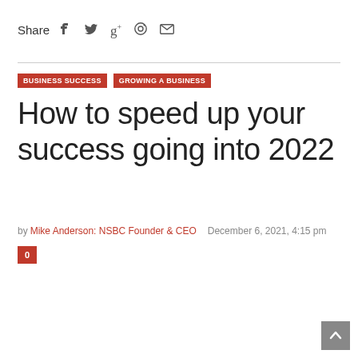Share  f  t  g+  ⊕  ✉
BUSINESS SUCCESS
GROWING A BUSINESS
How to speed up your success going into 2022
by Mike Anderson: NSBC Founder & CEO   December 6, 2021, 4:15 pm
0